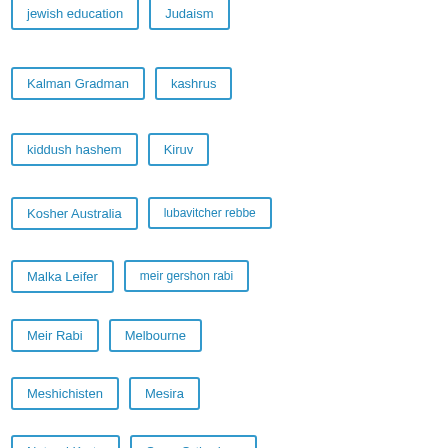jewish education
Judaism
Kalman Gradman
kashrus
kiddush hashem
Kiruv
Kosher Australia
lubavitcher rebbe
Malka Leifer
meir gershon rabi
Meir Rabi
Melbourne
Meshichisten
Mesira
Neturei Karta
Open Orthodoxy
OU
pesach
politics
purim